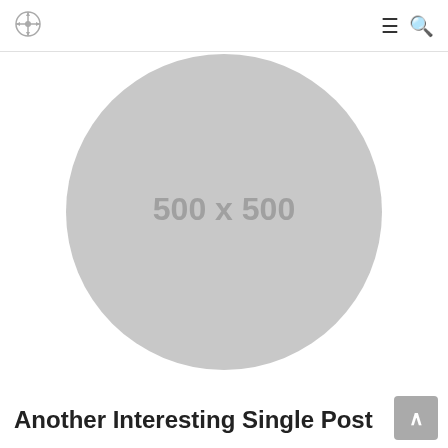[Figure (illustration): Circular gray placeholder image with text '500 x 500' in the center]
Another Interesting Single Post